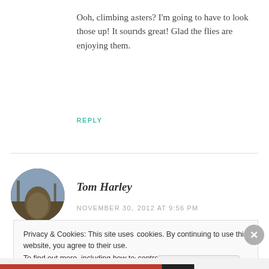Ooh, climbing asters? I'm going to have to look those up! It sounds great! Glad the flies are enjoying them.
REPLY
[Figure (photo): Circular avatar photo of Tom Harley showing an outdoor/nature scene]
Tom Harley
NOVEMBER 30, 2012 AT 9:56 PM
Privacy & Cookies: This site uses cookies. By continuing to use this website, you agree to their use. To find out more, including how to control cookies, see here: Cookie Policy
Close and accept